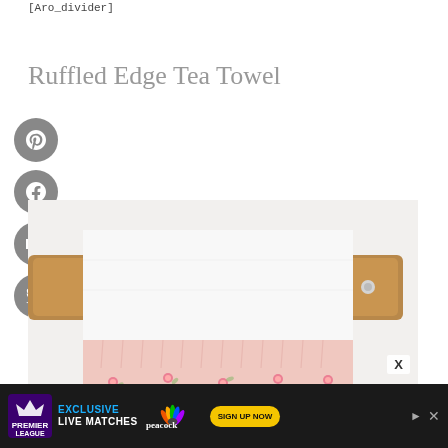[Aro_divider]
Ruffled Edge Tea Towel
[Figure (photo): A white tea towel with a pink ruffled edge featuring small floral print, hanging on a wooden towel bar mounted on a white wall. The bottom of the towel shows pink fabric with a rose/flower pattern ruffle.]
[Figure (infographic): Advertisement banner for Premier League Exclusive Live Matches on Peacock with a Sign Up Now button in yellow]